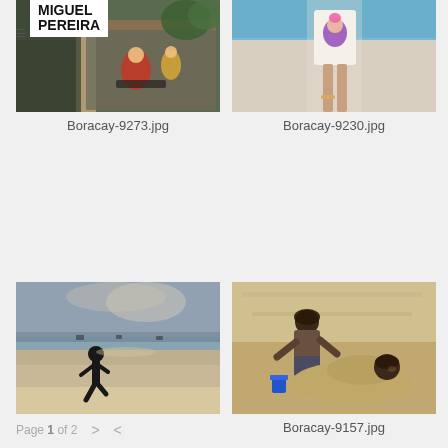[Figure (photo): Street scene with vehicle interior view, people on motorcycles in background, overlaid with MIGUEL PEREIRA logo and hamburger menu icon]
Boracay-9273.jpg
[Figure (photo): Girl standing on beach wearing white t-shirt with colorful cartoon print]
Boracay-9230.jpg
[Figure (photo): Silhouette of person running on beach at sunset/sunrise with water and boats in background]
[Figure (photo): Two children playing in sand on beach, one burying the other, with blue bucket visible]
Boracay-9157.jpg
Page 1 of 2  >  <